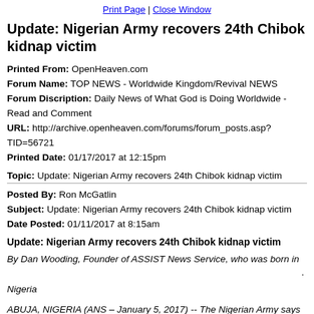Print Page | Close Window
Update: Nigerian Army recovers 24th Chibok kidnap victim
Printed From: OpenHeaven.com
Forum Name: TOP NEWS - Worldwide Kingdom/Revival NEWS
Forum Discription: Daily News of What God is Doing Worldwide - Read and Comment
URL: http://archive.openheaven.com/forums/forum_posts.asp?TID=56721
Printed Date: 01/17/2017 at 12:15pm
Topic: Update: Nigerian Army recovers 24th Chibok kidnap victim
Posted By: Ron McGatlin
Subject: Update: Nigerian Army recovers 24th Chibok kidnap victim
Date Posted: 01/11/2017 at 8:15am
Update: Nigerian Army recovers 24th Chibok kidnap victim
By Dan Wooding, Founder of ASSIST News Service, who was born in Nigeria
ABUJA, NIGERIA (ANS – January 5, 2017) -- The Nigerian Army says that it has discovered another woman who had been kidnapped nearly